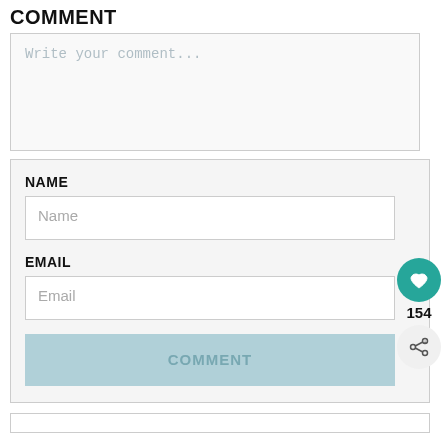COMMENT
Write your comment...
NAME
Name
EMAIL
Email
COMMENT
154